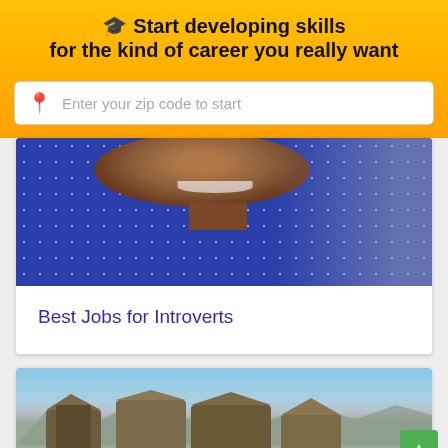🎓 Start developing skills for the kind of career you really want
Enter your zip code to start
[Figure (photo): Close-up photo of a smiling Black woman wearing a blue polka dot blouse, with a blurred corridor background]
Best Jobs for Introverts
[Figure (photo): Scenic landscape photo of tall rocky cliffs (Meteora-style formations) with mountains and sky in the background]